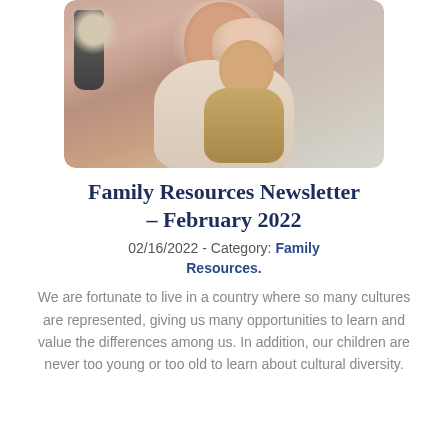[Figure (photo): A smiling woman wearing a beige hijab holding a baby also wearing a small turban/headwrap, both looking forward happily.]
Family Resources Newsletter – February 2022
02/16/2022 - Category: Family Resources.
We are fortunate to live in a country where so many cultures are represented, giving us many opportunities to learn and value the differences among us. In addition, our children are never too young or too old to learn about cultural diversity.